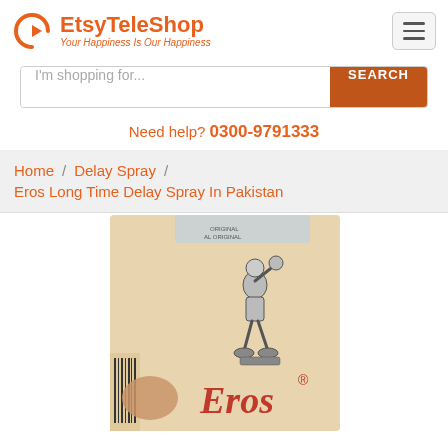EtsyTeleShop — Your Happiness Is Our Happiness
I'm shopping for...
Need help? 0300-9791333
Home / Delay Spray / Eros Long Time Delay Spray In Pakistan
[Figure (photo): Product photo of Eros delay spray box, showing a beige/tan colored box with a figure of an athlete (discus thrower) and the Eros brand logo in red at the bottom.]